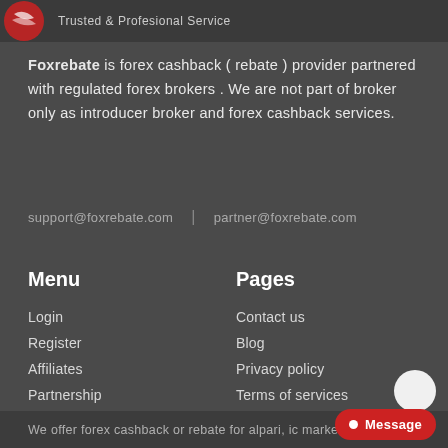Trusted & Profesional Service
Foxrebate is forex cashback ( rebate ) provider partnered with regulated forex brokers . We are not part of broker only as introducer broker and forex cashback services.
support@foxrebate.com | partner@foxrebate.com
Menu
Pages
Login
Register
Affiliates
Partnership
Brokers comparison
Contact us
Blog
Privacy policy
Terms of services
Risk Disclosure
We offer forex cashback or rebate for alpari, ic markets, exm...